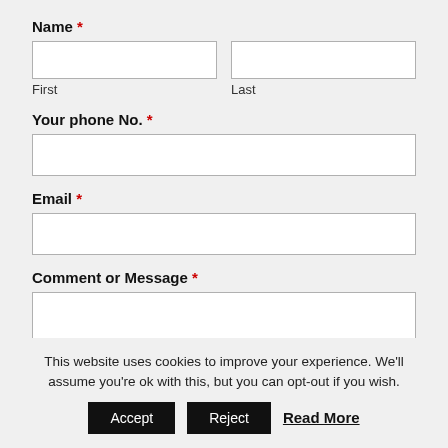Name *
First
Last
Your phone No. *
Email *
Comment or Message *
This website uses cookies to improve your experience. We'll assume you're ok with this, but you can opt-out if you wish.
Accept
Reject
Read More